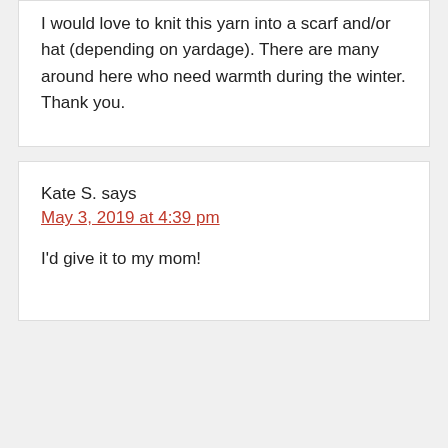I would love to knit this yarn into a scarf and/or hat (depending on yardage). There are many around here who need warmth during the winter. Thank you.
Kate S. says
May 3, 2019 at 4:39 pm
I'd give it to my mom!